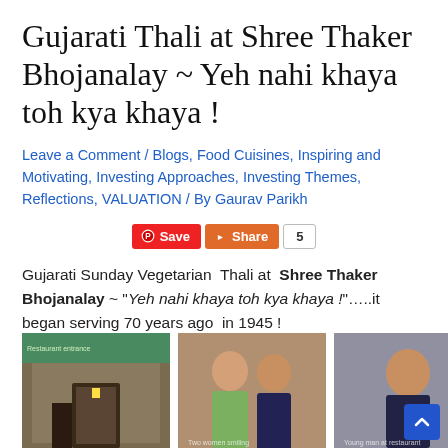Gujarati Thali at Shree Thaker Bhojanalay ~ Yeh nahi khaya toh kya khaya !
Leave a Comment / Blogs, Food Cuisines, Inspiring and Motivating, Investing Approaches, Investing Themes, Reflections, VALUATION / By Gaurav Parikh
Gujarati Sunday Vegetarian Thali at Shree Thaker Bhojanalay ~ "Yeh nahi khaya toh kya khaya !"…..it began serving 70 years ago in 1945 !
[Figure (photo): Three photos: entrance of Shree Thaker Bhojanalay, two women smiling, young man at restaurant]